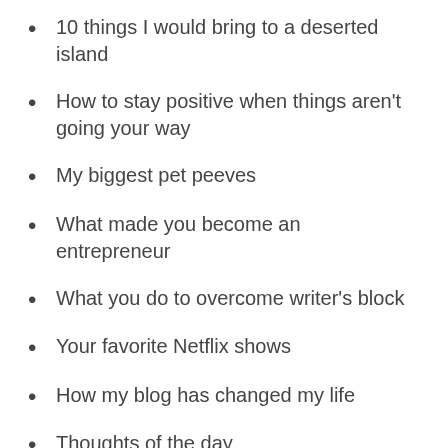10 things I would bring to a deserted island
How to stay positive when things aren't going your way
My biggest pet peeves
What made you become an entrepreneur
What you do to overcome writer's block
Your favorite Netflix shows
How my blog has changed my life
Thoughts of the day
What advice would you give your younger self
My perfect weekend